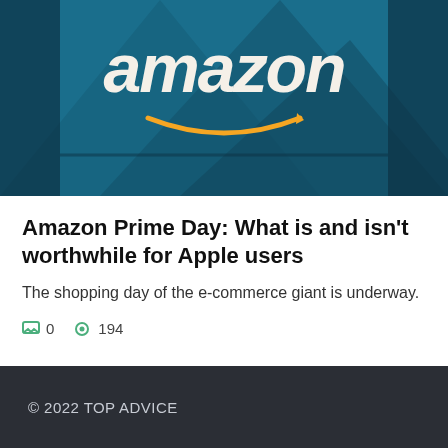[Figure (photo): Amazon logo on a dark blue background with decorative geometric shapes]
Amazon Prime Day: What is and isn't worthwhile for Apple users
The shopping day of the e-commerce giant is underway.
0  194
© 2022 TOP ADVICE